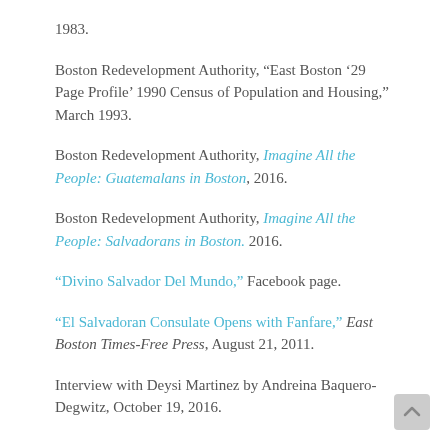1983.
Boston Redevelopment Authority, “East Boston ’29 Page Profile’ 1990 Census of Population and Housing,” March 1993.
Boston Redevelopment Authority, Imagine All the People: Guatemalans in Boston, 2016.
Boston Redevelopment Authority, Imagine All the People: Salvadorans in Boston. 2016.
“Divino Salvador Del Mundo,” Facebook page.
“El Salvadoran Consulate Opens with Fanfare,” East Boston Times-Free Press, August 21, 2011.
Interview with Deysi Martinez by Andreina Baquero-Degwitz, October 19, 2016.